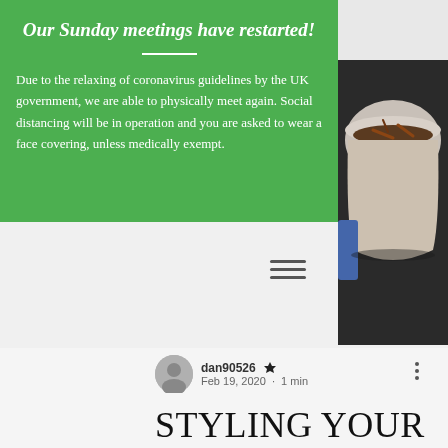Our Sunday meetings have restarted!
Due to the relaxing of coronavirus guidelines by the UK government, we are able to physically meet again. Social distancing will be in operation and you are asked to wear a face covering, unless medically exempt.
[Figure (photo): Photo on right side showing a coffee cup with spices from above, on a dark surface]
dan90526 Admin
Feb 19, 2020 · 1 min
Styling your shots